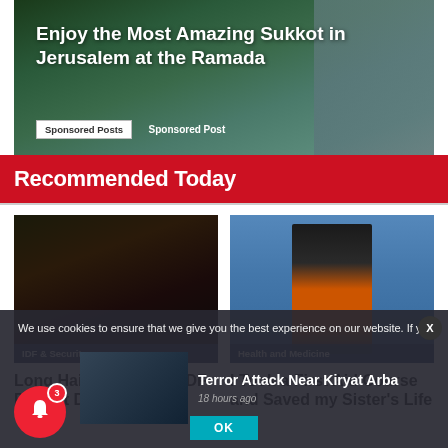[Figure (photo): Banner advertisement for Ramada Jerusalem hotel with scenic hotel exterior/garden background]
Enjoy the Most Amazing Sukkot in Jerusalem at the Ramada
Sponsored Posts   Sponsored Post
Recommended Today
[Figure (photo): Dark portrait photo of a long-haired IDF recruit in military gear at night]
IDF & Security
Long Haired, Straight IDF Recruit Demands:
[Figure (photo): Woman in orange safety vest with a young child, against blue background]
Health and Medicine
I Took a First Aid Course and Saved my Sister's Life
We use cookies to ensure that we give you the best experience on our website. If yo
[Figure (photo): Small thumbnail of a soldier in the field]
Terror Attack Near Kiryat Arba
18 hours ago